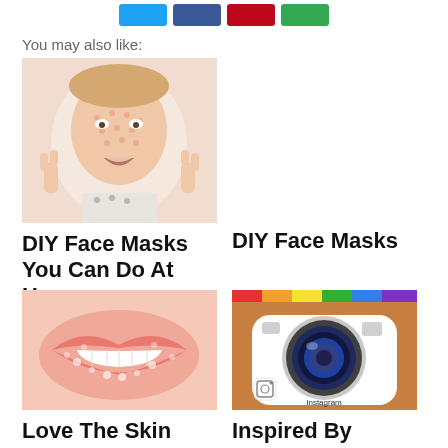[Figure (other): Social share buttons: Twitter (blue), Facebook (dark blue), Pinterest (red), Google (green)]
You may also like:
[Figure (photo): Woman with face mask making rock-on hand gestures, wearing polka dot top]
DIY Face Masks You Can Do At Home
DIY Face Masks
[Figure (photo): Close-up of lips with sparkly/sugary texture and white teeth]
[Figure (photo): Instagram app icon with camera lens, colorful rainbow stripe at top]
Love The Skin You're In!
Inspired By Instagram